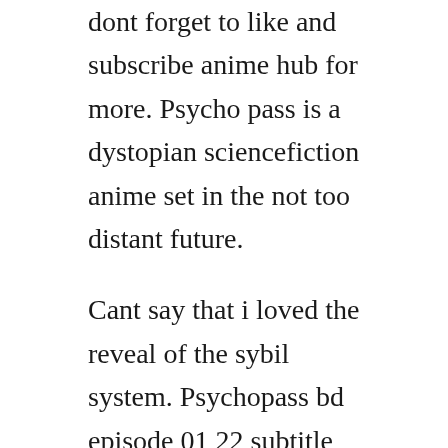dont forget to like and subscribe anime hub for more. Psycho pass is a dystopian sciencefiction anime set in the not too distant future.
Cant say that i loved the reveal of the sybil system. Psychopass bd episode 01 22 subtitle indonesia meownime. Psycho pass is a japanese anime television series by production i. Episode 18 commentary psychopass at sakuracon part 1 psychopass at sakuracon part 2 textless songs u. Download anime psychopass 3 batch sub indo meownime.